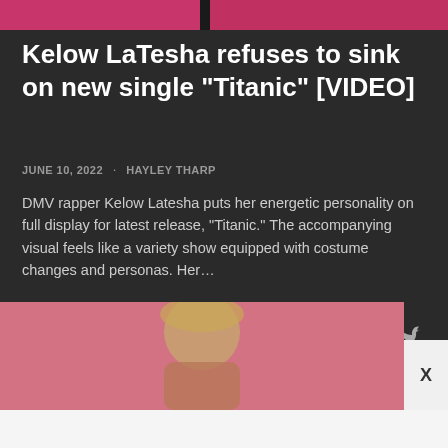[Figure (photo): Top cropped image strip showing a pink/magenta background with a person partially visible]
Kelow LaTesha refuses to sink on new single "Titanic" [VIDEO]
JUNE 10, 2022 · HAYLEY THARP
DMV rapper Kelow Latesha puts her energetic personality on full display for latest release, “Titanic.” The accompanying visual feels like a variety show equipped with costume changes and personas. Her…
SHARE →
[Figure (photo): Bottom portion of page showing a person with braided/decorated hair against a pink background, partially cropped]